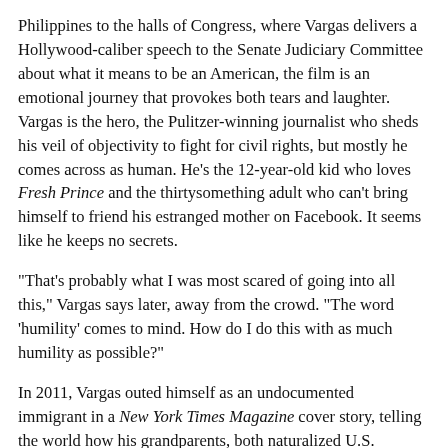Philippines to the halls of Congress, where Vargas delivers a Hollywood-caliber speech to the Senate Judiciary Committee about what it means to be an American, the film is an emotional journey that provokes both tears and laughter. Vargas is the hero, the Pulitzer-winning journalist who sheds his veil of objectivity to fight for civil rights, but mostly he comes across as human. He’s the 12-year-old kid who loves Fresh Prince and the thirtysomething adult who can’t bring himself to friend his estranged mother on Facebook. It seems like he keeps no secrets.
“That’s probably what I was most scared of going into all this,” Vargas says later, away from the crowd. “The word ‘humility’ comes to mind. How do I do this with as much humility as possible?”
In 2011, Vargas outed himself as an undocumented immigrant in a New York Times Magazine cover story, telling the world how his grandparents, both naturalized U.S. citizens, paid to have him smuggled into the country as a child, leaving his single mother behind in the Philippines. The film focuses on the weeks leading up to the bombshell story, and the fallout in the years after. Vargas quit journalism and created the pro-immigrant Define American campaign.
Vargas has been touring the country virtually nonstop ever since,